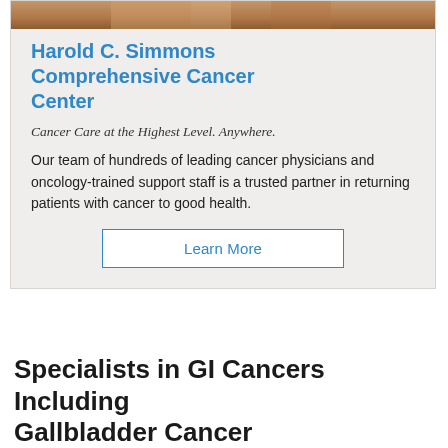[Figure (photo): Partial photo of a person at the top of the card, cropped]
Harold C. Simmons Comprehensive Cancer Center
Cancer Care at the Highest Level. Anywhere.
Our team of hundreds of leading cancer physicians and oncology-trained support staff is a trusted partner in returning patients with cancer to good health.
Learn More
Specialists in GI Cancers Including Gallbladder Cancer